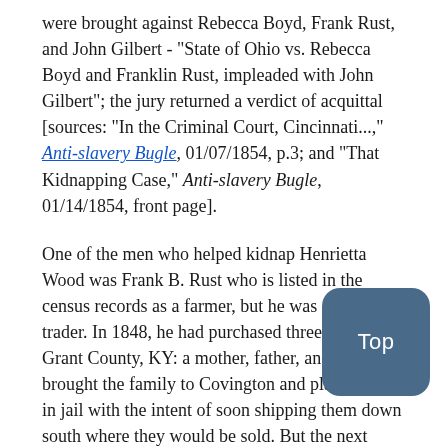were brought against Rebecca Boyd, Frank Rust, and John Gilbert - "State of Ohio vs. Rebecca Boyd and Franklin Rust, impleaded with John Gilbert"; the jury returned a verdict of acquittal [sources: "In the Criminal Court, Cincinnati...," Anti-slavery Bugle, 01/07/1854, p.3; and "That Kidnapping Case," Anti-slavery Bugle, 01/14/1854, front page].
One of the men who helped kidnap Henrietta Wood was Frank B. Rust who is listed in the census records as a farmer, but he was also a slave trader. In 1848, he had purchased three slaves in Grant County, KY: a mother, father, and child. He brought the family to Covington and placed them in jail with the intent of soon shipping them down south where they would be sold. But the next morning after placing them in a cell, the jailer found all three members of the family with their throats cut. The wife and child were dead. The parents had preferred death to being sold down south as slaves. The father was not expected to die. - - [source: "Bloody Tragedy," The Lancaster Gazette," 06/02/1848, p.2]. Frank B. Rust was part of the